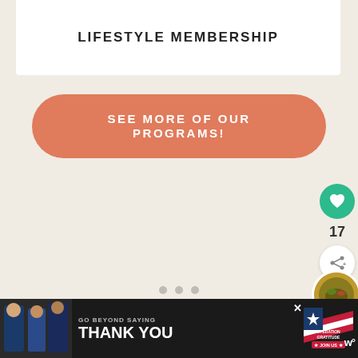LIFESTYLE MEMBERSHIP
SEE MORE OF OUR PROGRAMS!
[Figure (infographic): Three dot slider navigation indicators]
[Figure (infographic): Heart/like button icon (green circle with white heart), count of 17, and share button]
[Figure (photo): Circular food photo partially visible at right edge]
[Figure (photo): Advertisement banner: GO BEYOND SAYING THANK YOU - Operation Gratitude JOIN US with photo of people in uniform]